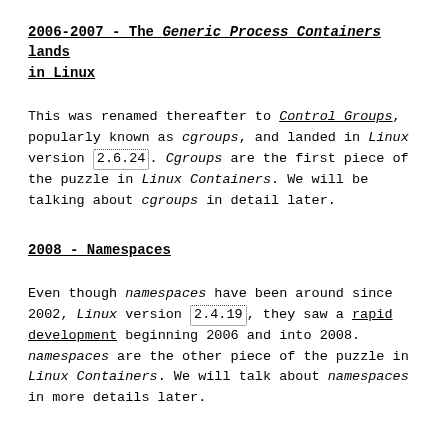2006-2007 - The Generic Process Containers lands in Linux
This was renamed thereafter to Control Groups, popularly known as cgroups, and landed in Linux version 2.6.24. Cgroups are the first piece of the puzzle in Linux Containers. We will be talking about cgroups in detail later.
2008 - Namespaces
Even though namespaces have been around since 2002, Linux version 2.4.19, they saw a rapid development beginning 2006 and into 2008. namespaces are the other piece of the puzzle in Linux Containers. We will talk about namespaces in more details later.